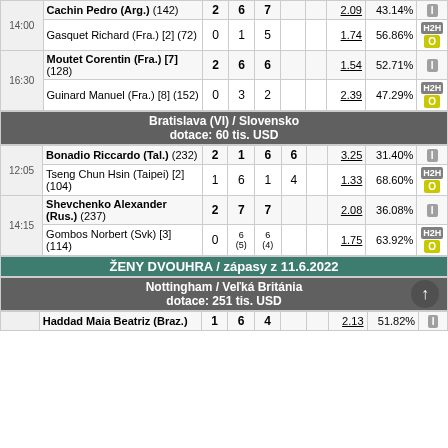| Time | Player | S | 1 | 2 | 3 |  | Odd | Pct |  |  |
| --- | --- | --- | --- | --- | --- | --- | --- | --- | --- | --- |
| 14:00 | Cachin Pedro (Arg.) (142) | 2 | 6 | 7 |  |  | 2.09 | 43.14% | I |  |
|  | Gasquet Richard (Fra.) [2] (72) | 0 | 1 | 5 |  |  | 1.74 | 56.86% | H2H | O |
| 16:30 | Moutet Corentin (Fra.) [7] (128) | 2 | 6 | 6 |  |  | 1.54 | 52.71% | I |  |
|  | Guinard Manuel (Fra.) [8] (152) | 0 | 3 | 2 |  |  | 2.39 | 47.29% | H2H | O |
Bratislava (VI) / Slovensko
dotace: 60 tis. USD
| Time | Player | S | 1 | 2 | 3 |  | Odd | Pct |  |  |
| --- | --- | --- | --- | --- | --- | --- | --- | --- | --- | --- |
| 12:05 | Bonadio Riccardo (Tal.) (232) | 2 | 1 | 6 | 6 |  | 3.25 | 31.40% | I |  |
|  | Tseng Chun Hsin (Taipei) [2] (104) | 1 | 6 | 1 | 4 |  | 1.33 | 68.60% | H2H | O |
| 14:15 | Shevchenko Alexander (Rus.) (237) | 2 | 7 | 7 |  |  | 2.08 | 36.08% | I |  |
|  | Gombos Norbert (Svk) [3] (114) | 0 | 6(5) | 6(4) |  |  | 1.75 | 63.92% | H2H | O |
ŽENY DVOUHRA / zápasy z 11.6.2022
Nottingham / Veľká Británia
dotace: 251 tis. USD
| Time | Player | S | 1 | 2 | 3 |  | Odd | Pct |  |  |
| --- | --- | --- | --- | --- | --- | --- | --- | --- | --- | --- |
|  | Haddad Maia Beatriz (Braz.) | 1 | 6 | 4 |  |  | 2.13 | 51.82% | I |  |